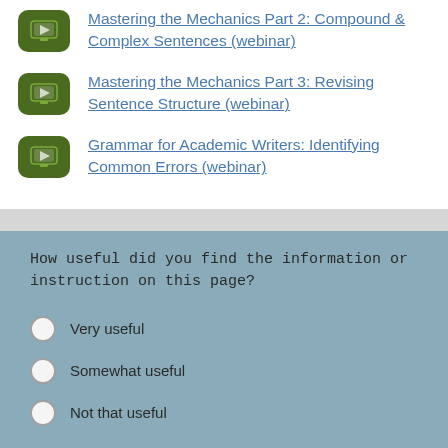Mastering the Mechanics Part 2: Compound & Complex Sentences (webinar)
Mastering the Mechanics Part 3: Revising Sentence Structure (webinar)
Grammar for Academic Writers: Identifying Common Errors (webinar)
How useful did you find the information or instruction on this page?
Very useful
Somewhat useful
Not that useful